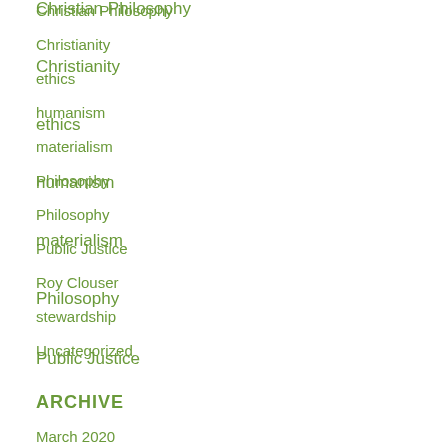Christian Philosophy
Christianity
ethics
humanism
materialism
Philosophy
Philosophy
Public Justice
Roy Clouser
stewardship
Uncategorized
ARCHIVE
March 2020